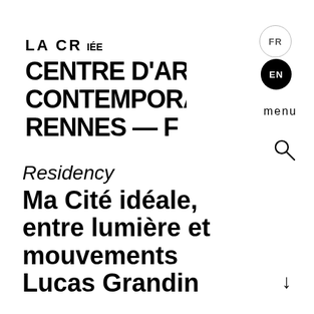[Figure (logo): La Criée Centre d'Art Contemporain Rennes — F logo in bold uppercase stacked text]
FR EN menu
Residency
Ma Cité idéale, entre lumière et mouvements
Lucas Grandin
from February to July 2018